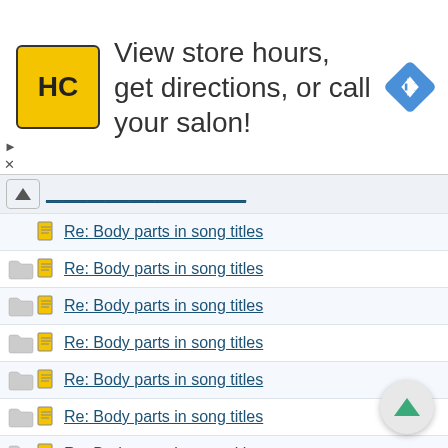[Figure (screenshot): Advertisement banner for a hair salon chain (HC logo in yellow square) with text 'View store hours, get directions, or call your salon!' and a blue navigation/directions diamond icon on the right.]
Re: Body parts in song titles
Re: Body parts in song titles
Re: Body parts in song titles
Re: Body parts in song titles
Re: Body parts in song titles
Re: Body parts in song titles
Re: Body parts in song titles
Re: Body parts in song titles
Re: Body parts in song titles
Re: Body parts in song titles
Re: Body parts in song titles
Re: Body parts in song titles
Re: Body parts in song titles